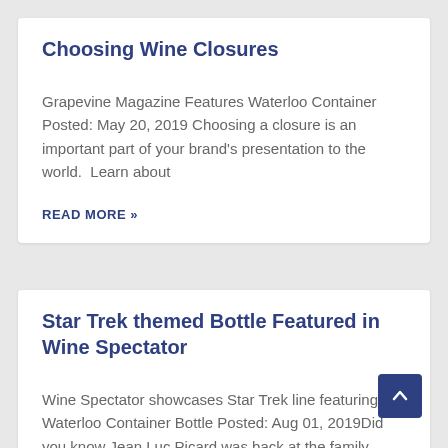Choosing Wine Closures
Grapevine Magazine Features Waterloo Container Posted: May 20, 2019 Choosing a closure is an important part of your brand's presentation to the world.  Learn about
READ MORE »
Star Trek themed Bottle Featured in Wine Spectator
Wine Spectator showcases Star Trek line featuring Waterloo Container Bottle Posted: Aug 01, 2019Did you know Jean Luc Picard was back at the family winery?